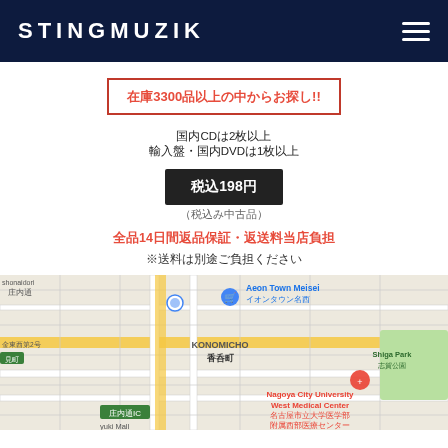STINGMUZIK
在庫3300品以上の中からお探し!!
国内CD国2枚以上
輸入盤・国内DVD国1枚以上
税込198円
（税込み中古品）
全品14日間返品保証・返送料当店負担
※送料は別途ご負担ください
[Figure (map): Google Maps showing area around Nagoya City University West Medical Center, Aeon Town Meisei, KONOMICHO 香呑町, Shiga Park 志賀公園, 庄内通IC area]